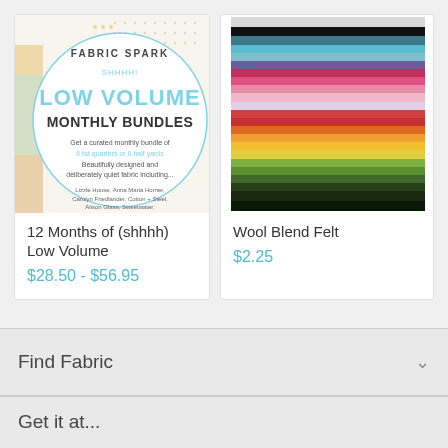[Figure (illustration): Fabric Spark Low Volume Monthly Bundles promotional image with circular design on patterned background]
12 Months of (shhhh) Low Volume
$28.50 - $56.95
[Figure (photo): Stack of colorful wool blend felt sheets showing rainbow of colors from dark to light]
Wool Blend Felt
$2.25
Find Fabric
Get it at...